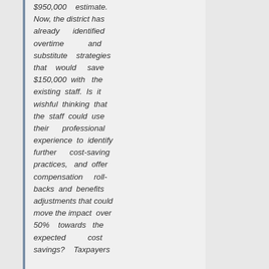$950,000 estimate. Now, the district has already identified overtime and substitute strategies that would save $150,000 with the existing staff. Is it wishful thinking that the staff could use their professional experience to identify further cost-saving practices, and offer compensation rollbacks and benefits adjustments that could move the impact over 50% towards the expected cost savings? Taxpayers